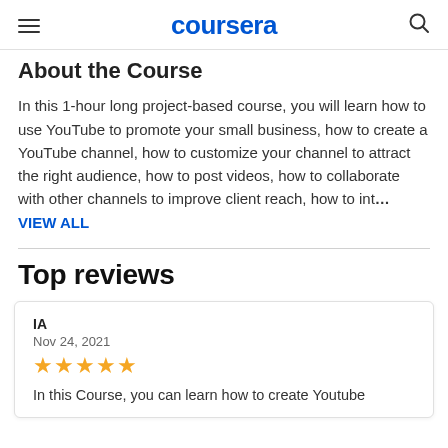coursera
About the Course
In this 1-hour long project-based course, you will learn how to use YouTube to promote your small business, how to create a YouTube channel, how to customize your channel to attract the right audience, how to post videos, how to collaborate with other channels to improve client reach, how to int… VIEW ALL
Top reviews
IA
Nov 24, 2021
★★★★★
In this Course, you can learn how to create Youtube